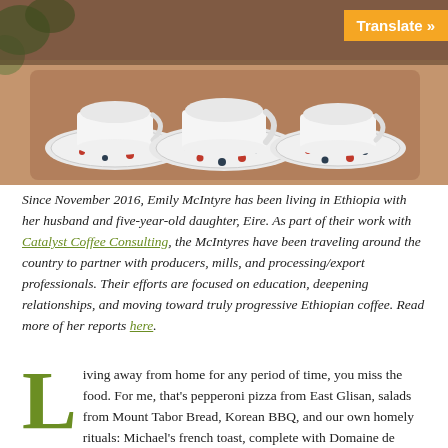[Figure (photo): Overhead view of three white polka-dotted coffee cups and saucers on a wooden tray, dots are red and black/dark blue, with green foliage in background]
Translate »
Since November 2016, Emily McIntyre has been living in Ethiopia with her husband and five-year-old daughter, Eire. As part of their work with Catalyst Coffee Consulting, the McIntyres have been traveling around the country to partner with producers, mills, and processing/export professionals. Their efforts are focused on education, deepening relationships, and moving toward truly progressive Ethiopian coffee. Read more of her reports here.
Living away from home for any period of time, you miss the food. For me, that's pepperoni pizza from East Glisan, salads from Mount Tabor Bread, Korean BBQ, and our own homely rituals: Michael's french toast, complete with Domaine de Canton, thick slabby bacon, and homemade carnitas.